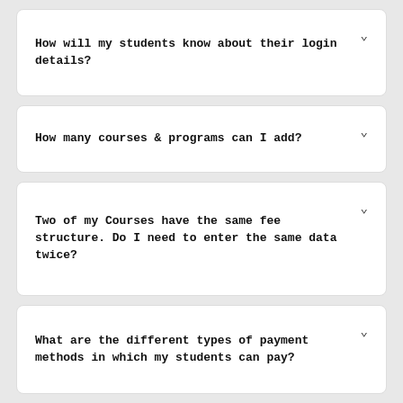How will my students know about their login details?
How many courses & programs can I add?
Two of my Courses have the same fee structure. Do I need to enter the same data twice?
What are the different types of payment methods in which my students can pay?